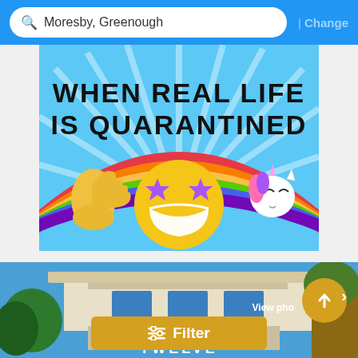Moresby, Greenough | Change
[Figure (illustration): Meme image with text 'WHEN REAL LIFE IS QUARANTINED' on a blue sky background, featuring a rainbow emoji, thumbs up emoji, star-eyes emoji with face mask, and unicorn emoji]
[Figure (photo): Photo of a modern building exterior with flat roof canopy, blue sky, trees, yellow 'TWELVE' text at bottom. Overlaid with a gold 'Filter' button and a gold circular arrow-up button with 'View photos' text]